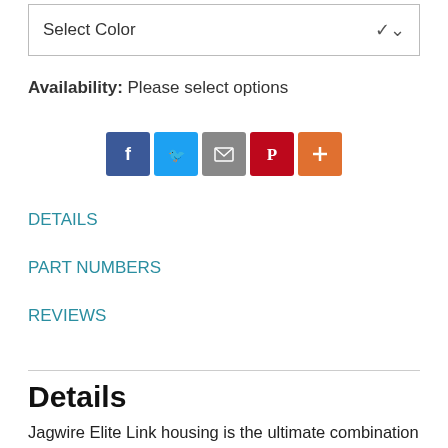[Figure (screenshot): Select Color dropdown box with chevron arrow on the right]
Availability: Please select options
[Figure (infographic): Social share icons: Facebook (blue), Twitter (blue), Email (grey), Pinterest (red), More/Plus (orange)]
DETAILS
PART NUMBERS
REVIEWS
Details
Jagwire Elite Link housing is the ultimate combination of durability and attention-grabbing looks. Available in six eye-catching colors, they're designed to improve any bike's performance and appearance. 2x Elite Link Shift Kits are